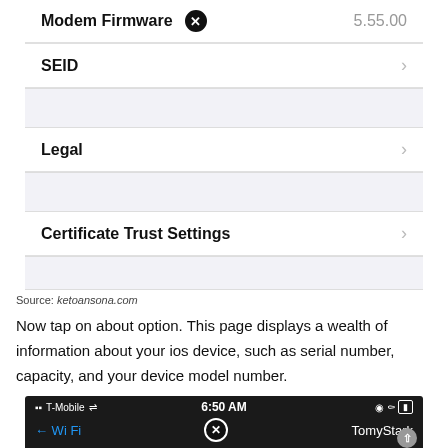[Figure (screenshot): iOS Settings partial screenshot showing Modem Firmware row with value 5.55.00 and a close/cancel icon]
SEID >
Legal >
Certificate Trust Settings >
Source: ketoansona.com
Now tap on about option. This page displays a wealth of information about your ios device, such as serial number, capacity, and your device model number.
[Figure (screenshot): iOS status bar showing T-Mobile signal, WiFi icon, 6:50 AM, and battery/audio icons. Below shows partial WiFi and TomyStark labels with a close button.]